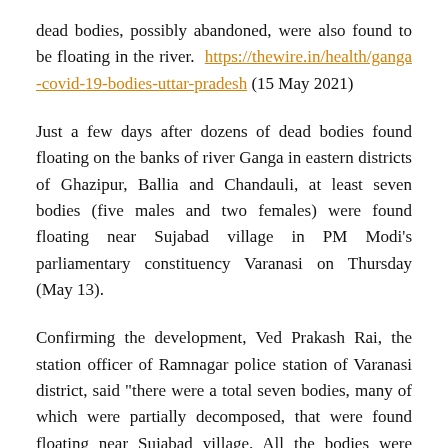dead bodies, possibly abandoned, were also found to be floating in the river. https://thewire.in/health/ganga-covid-19-bodies-uttar-pradesh (15 May 2021)
Just a few days after dozens of dead bodies found floating on the banks of river Ganga in eastern districts of Ghazipur, Ballia and Chandauli, at least seven bodies (five males and two females) were found floating near Sujabad village in PM Modi’s parliamentary constituency Varanasi on Thursday (May 13).
Confirming the development, Ved Prakash Rai, the station officer of Ramnagar police station of Varanasi district, said “there were a total seven bodies, many of which were partially decomposed, that were found floating near Sujabad village. All the bodies were retrieved from the river and buried safely by following all safety protocols by the local administration”